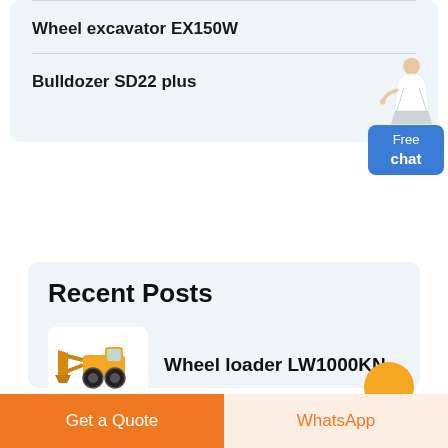Wheel excavator EX150W
Bulldozer SD22 plus
Recent Posts
Wheel loader LW1000KN
Get a Quote
WhatsApp